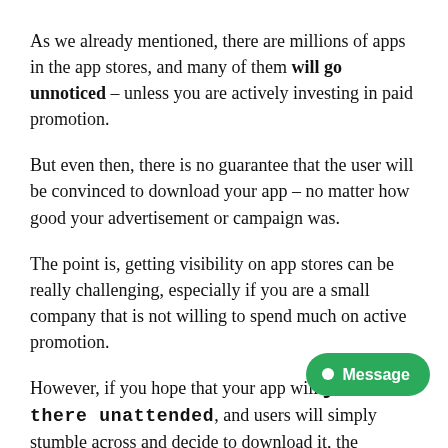As we already mentioned, there are millions of apps in the app stores, and many of them will go unnoticed – unless you are actively investing in paid promotion.
But even then, there is no guarantee that the user will be convinced to download your app – no matter how good your advertisement or campaign was.
The point is, getting visibility on app stores can be really challenging, especially if you are a small company that is not willing to spend much on active promotion.
However, if you hope that your app will just sit there unattended, and users will simply stumble across and decide to download it, the chances are that you will end up really disappointed.
Having said this, there is a way to bypass app stores that